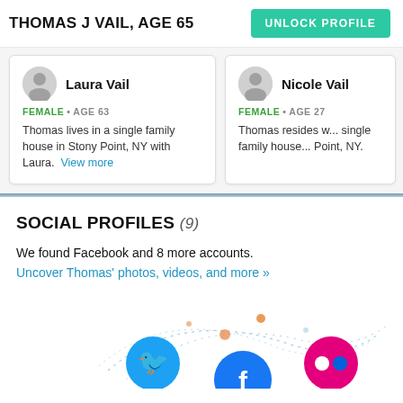THOMAS J VAIL, AGE 65
Laura Vail
FEMALE • AGE 63
Thomas lives in a single family house in Stony Point, NY with Laura. View more
Nicole Vail
FEMALE • AGE 27
Thomas resides w... single family house... Point, NY.
SOCIAL PROFILES (9)
We found Facebook and 8 more accounts.
Uncover Thomas' photos, videos, and more »
[Figure (infographic): Social network icons including Twitter (blue bird), Facebook (blue f), and Flickr (pink camera), connected by dotted arc lines with small orange/teal dots, suggesting social network connections.]